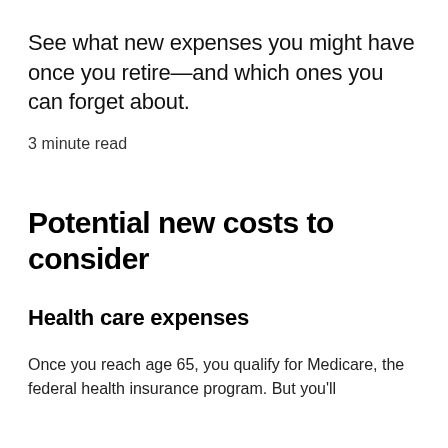See what new expenses you might have once you retire—and which ones you can forget about.
3 minute read
Potential new costs to consider
Health care expenses
Once you reach age 65, you qualify for Medicare, the federal health insurance program. But you'll